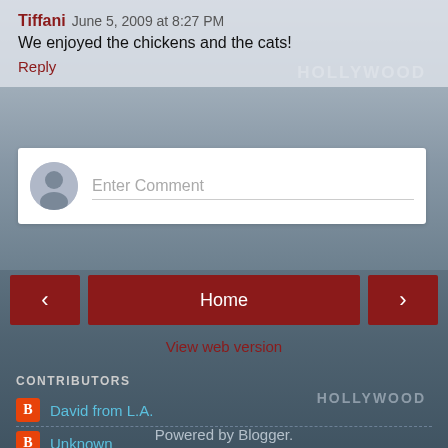Tiffani  June 5, 2009 at 8:27 PM
We enjoyed the chickens and the cats!
Reply
Enter Comment
< Home >
View web version
CONTRIBUTORS
David from L.A.
Unknown
Powered by Blogger.